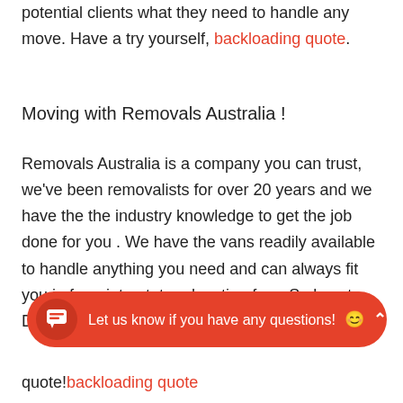potential clients what they need to handle any move. Have a try yourself, backloading quote.
Moving with Removals Australia !
Removals Australia is a company you can trust, we've been removalists for over 20 years and we have the the industry knowledge to get the job done for you . We have the vans readily available to handle anything you need and can always fit you in for a interstate relocation from Sydney to Deloraine. Begin now to secure a quality removal quote!backloading quote
Let us know if you have any questions! 😊